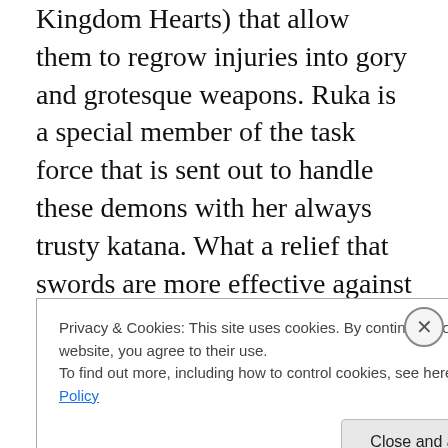Kingdom Hearts) that allow them to regrow injuries into gory and grotesque weapons. Ruka is a special member of the task force that is sent out to handle these demons with her always trusty katana. What a relief that swords are more effective against evil in the future than guns are…
After discovering an evil plot and a hidden past, Ruka must embrace who she is and destroy everyone in her path. This leads to a whole lotta ridiculous gore (basically things you can't do to or with the
Privacy & Cookies: This site uses cookies. By continuing to use this website, you agree to their use.
To find out more, including how to control cookies, see here: Cookie Policy